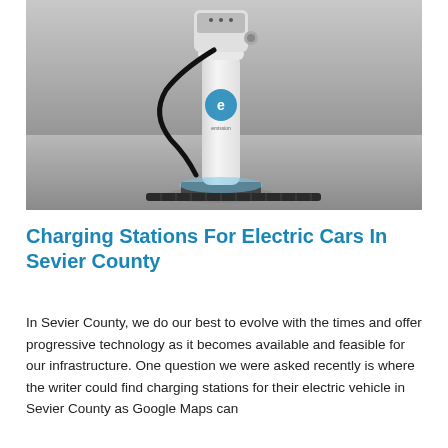[Figure (photo): Photo of a white electric vehicle charging station with a black cable, glowing blue at the base, placed on a grey surface indoors.]
Charging Stations For Electric Cars In Sevier County
In Sevier County, we do our best to evolve with the times and offer progressive technology as it becomes available and feasible for our infrastructure. One question we were asked recently is where the writer could find charging stations for their electric vehicle in Sevier County as Google Maps can